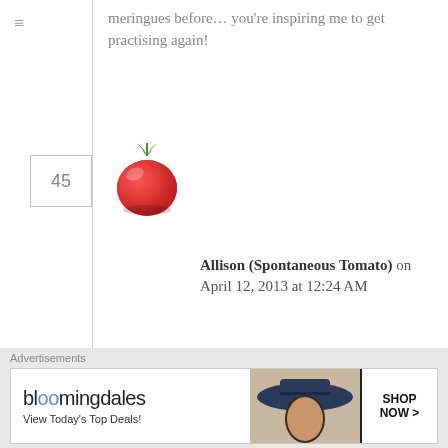meringues before… you're inspiring me to get practising again!
Allison (Spontaneous Tomato) on April 12, 2013 at 12:24 AM
Reply
Like
This looks so perfect– I'm impressed! I think meringues are kind of intimidating, but they look so fancy and taste so delicious, this post has gone a long way in convincing me it may be worth the effort… 🙂
Advertisements
[Figure (screenshot): Bloomingdale's advertisement banner: bloomingdales logo, 'View Today's Top Deals!' text, woman with hat image, and 'SHOP NOW >' button]